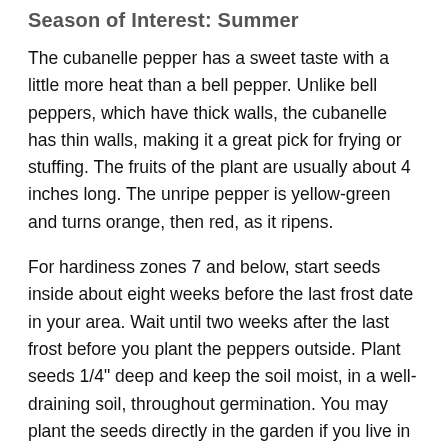Season of Interest: Summer
The cubanelle pepper has a sweet taste with a little more heat than a bell pepper. Unlike bell peppers, which have thick walls, the cubanelle has thin walls, making it a great pick for frying or stuffing. The fruits of the plant are usually about 4 inches long. The unripe pepper is yellow-green and turns orange, then red, as it ripens.
For hardiness zones 7 and below, start seeds inside about eight weeks before the last frost date in your area. Wait until two weeks after the last frost before you plant the peppers outside. Plant seeds 1/4" deep and keep the soil moist, in a well-draining soil, throughout germination. You may plant the seeds directly in the garden if you live in a region that has a long growing season. The cubanelle pepper takes 70 to